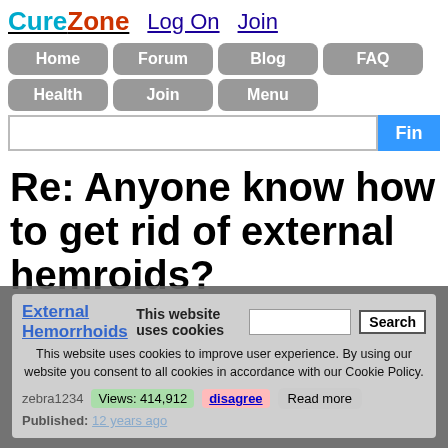CureZone Log On Join
Home Forum Blog FAQ Health Join Menu
Re: Anyone know how to get rid of external hemroids?
External Hemorrhoids
This website uses cookies to improve user experience. By using our website you consent to all cookies in accordance with our Cookie Policy.
zebra1234 Views: 414,912 Published: 12 years ago